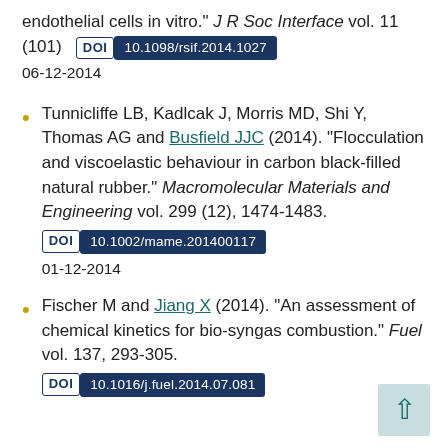endothelial cells in vitro." J R Soc Interface vol. 11 (101)
DOI 10.1098/rsif.2014.1027
06-12-2014
Tunnicliffe LB, Kadlcak J, Morris MD, Shi Y, Thomas AG and Busfield JJC (2014). "Flocculation and viscoelastic behaviour in carbon black-filled natural rubber." Macromolecular Materials and Engineering vol. 299 (12), 1474-1483. DOI 10.1002/mame.201400117 01-12-2014
Fischer M and Jiang X (2014). "An assessment of chemical kinetics for bio-syngas combustion." Fuel vol. 137, 293-305. DOI 10.1016/j.fuel.2014.07.081